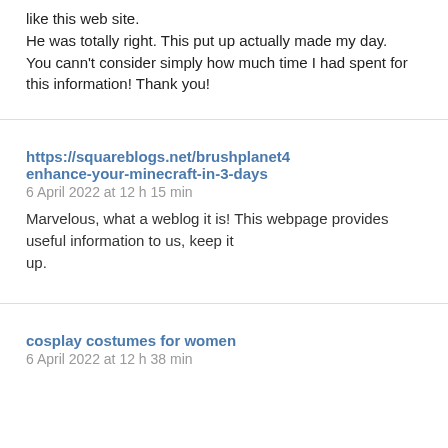like this web site.
He was totally right. This put up actually made my day.
You cann't consider simply how much time I had spent for this information! Thank you!
https://squareblogs.net/brushplanet4enhance-your-minecraft-in-3-days
6 April 2022 at 12 h 15 min
Marvelous, what a weblog it is! This webpage provides useful information to us, keep it up.
cosplay costumes for women
6 April 2022 at 12 h 38 min